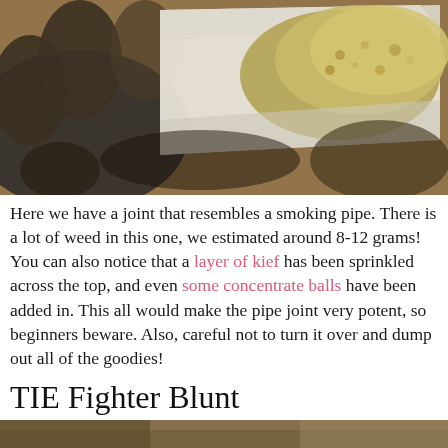[Figure (photo): Close-up photo of a hand holding a large pipe-shaped joint/blunt filled with cannabis and topped with kief, viewed from above on a wooden surface.]
Here we have a joint that resembles a smoking pipe. There is a lot of weed in this one, we estimated around 8-12 grams! You can also notice that a layer of kief has been sprinkled across the top, and even some concentrate balls have been added in. This all would make the pipe joint very potent, so beginners beware. Also, careful not to turn it over and dump out all of the goodies!
TIE Fighter Blunt
[Figure (photo): Bottom portion of another photo showing a surface, partially visible.]